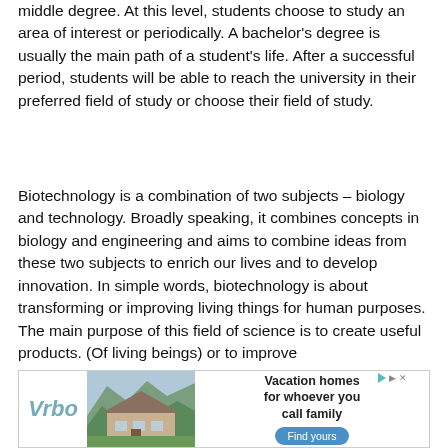middle degree. At this level, students choose to study an area of interest or periodically. A bachelor's degree is usually the main path of a student's life. After a successful period, students will be able to reach the university in their preferred field of study or choose their field of study.
Biotechnology is a combination of two subjects – biology and technology. Broadly speaking, it combines concepts in biology and engineering and aims to combine ideas from these two subjects to enrich our lives and to develop innovation. In simple words, biotechnology is about transforming or improving living things for human purposes. The main purpose of this field of science is to create useful products. (Of living beings) or to improve
[Figure (other): VRBO advertisement banner showing a vacation home in a mountain setting with text 'Vacation homes for whoever you call family' and a 'Find yours' button]